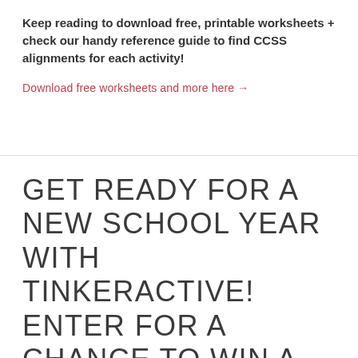Keep reading to download free, printable worksheets + check our handy reference guide to find CCSS alignments for each activity!
Download free worksheets and more here →
GET READY FOR A NEW SCHOOL YEAR WITH TINKERACTIVE! ENTER FOR A CHANCE TO WIN A CLASSROOM SET OF WORKBOOKS + DOWNLOAD FREE PRINTABLE WORKSHEETS!